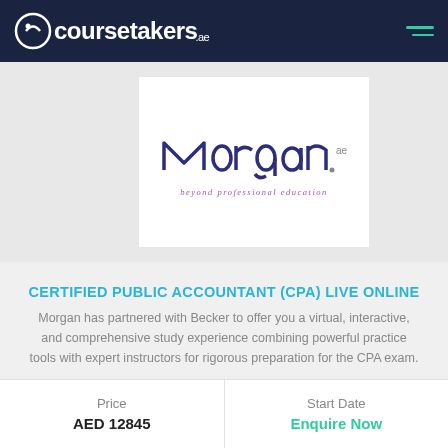coursetakers.ae
[Figure (logo): Morgan International logo with text 'beyond professional education']
CERTIFIED PUBLIC ACCOUNTANT (CPA) LIVE ONLINE
Morgan has partnered with Becker to offer you a virtual, interactive, and comprehensive study experience combining powerful practice tools with expert instructors for rigorous preparation for the CPA exam.
by Morgan International
| Price | Start Date |
| --- | --- |
| AED 12845 | Enquire Now |